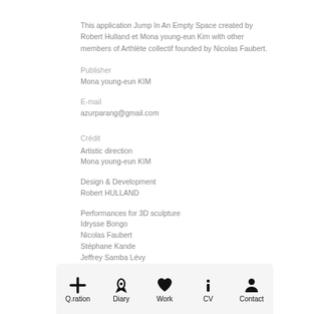This application Jump In An Empty Space created by Robert Hulland et Mona young-eun Kim with other members of Arthlète collectif founded by Nicolas Faubert.
Publisher
Mona young-eun KIM
E-mail
azurparang@gmail.com
Crédit
Artistic direction
Mona young-eun KIM
Design & Development
Robert HULLAND
Performances for 3D sculpture
Idrysse Bongo
Nicolas Faubert
Stéphane Kande
Jeffrey Samba Lévy
Thanks to @heartstreet2020
[Figure (other): Mobile app bottom navigation bar with five icons: Q.ration (plus icon), Diary (rocket icon), Work (heart icon), CV (info icon), Contact (person icon)]